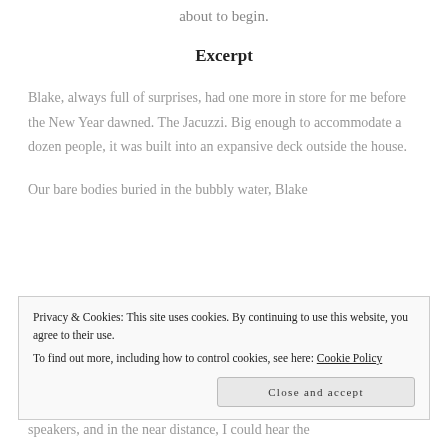My face lit up and my cock stirred. The fun was about to begin.
Excerpt
Blake, always full of surprises, had one more in store for me before the New Year dawned. The Jacuzzi. Big enough to accommodate a dozen people, it was built into an expansive deck outside the house.
Our bare bodies buried in the bubbly water, Blake
Privacy & Cookies: This site uses cookies. By continuing to use this website, you agree to their use.
To find out more, including how to control cookies, see here: Cookie Policy
Close and accept
speakers, and in the near distance, I could hear the